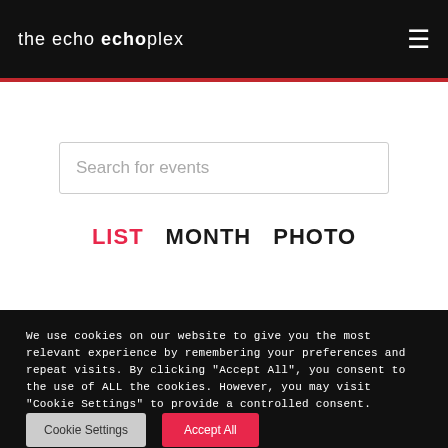the echo   echoplex
Search for events
LIST   MONTH   PHOTO
We use cookies on our website to give you the most relevant experience by remembering your preferences and repeat visits. By clicking "Accept All", you consent to the use of ALL the cookies. However, you may visit "Cookie Settings" to provide a controlled consent.
Cookie Settings   Accept All